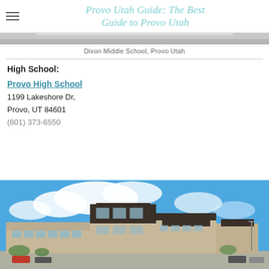Provo Utah Guide: The Best Guide to Provo Utah
[Figure (photo): Top strip of a building exterior photo (Dixon Middle School) - cropped gray building facade]
Dixon Middle School, Provo Utah
High School:
Provo High School
1199 Lakeshore Dr,
Provo, UT 84601
(801) 373-6550
[Figure (photo): Exterior photo of Provo High School building — modern tan brick and dark brown structure under a blue sky with clouds]